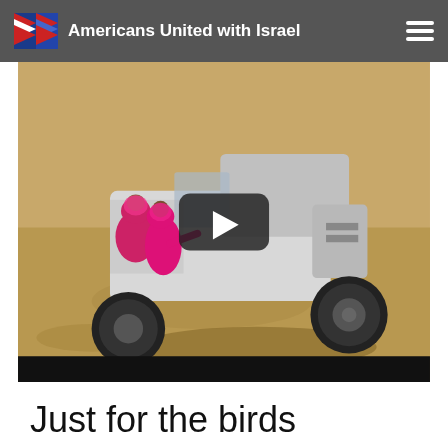Americans United with Israel
[Figure (screenshot): Video thumbnail showing a white/light-colored open jeep vehicle driven on sandy desert terrain, aerial view. Passengers in bright pink/magenta clothing visible in the jeep. A dark semi-transparent play button overlay is centered on the image with a white play triangle. A black bar is at the bottom of the video player.]
Just for the birds